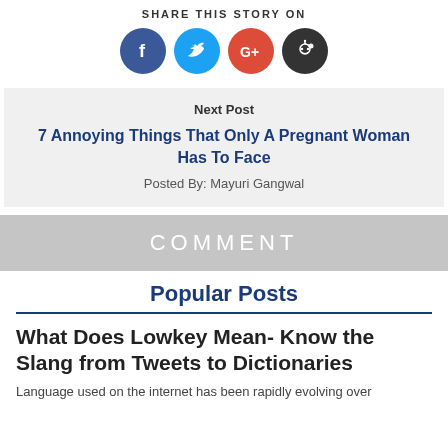SHARE THIS STORY ON
[Figure (infographic): Four social sharing icons: Facebook (blue circle, f), Twitter (light blue circle, bird), Google+ (red circle, G+), Reddit (dark circle, alien logo)]
Next Post
7 Annoying Things That Only A Pregnant Woman Has To Face
Posted By: Mayuri Gangwal
COMMENT
Popular Posts
What Does Lowkey Mean- Know the Slang from Tweets to Dictionaries
Language used on the internet has been rapidly evolving over